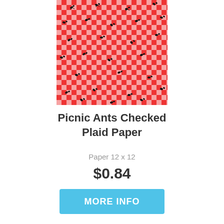[Figure (illustration): Red and white gingham/checked plaid pattern with black ant illustrations scattered across it]
Picnic Ants Checked Plaid Paper
Paper 12 x 12
$0.84
MORE INFO